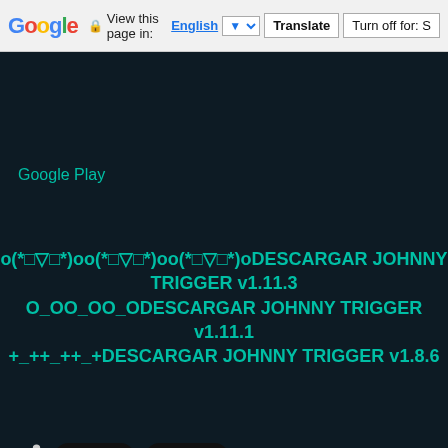Google | View this page in: English [▼] | Translate | Turn off for: S
Google Play
o(*□▽□*)oo(*□▽□*)oo(*□▽□*)oDESCARGAR JOHNNY TRIGGER v1.11.3
O_OO_OO_ODESCARGAR JOHNNY TRIGGER v1.11.1
+_++_++_+DESCARGAR JOHNNY TRIGGER v1.8.6
Acción
Juegos
Escribe tu comentario